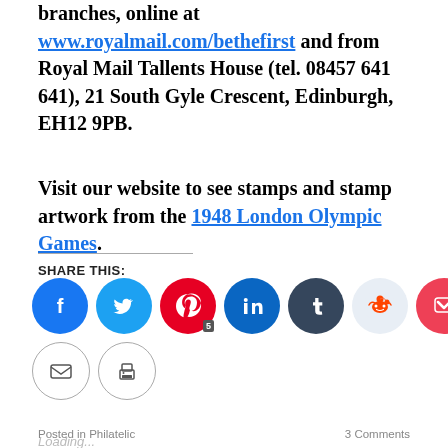branches, online at www.royalmail.com/bethefirst and from Royal Mail Tallents House (tel. 08457 641 641), 21 South Gyle Crescent, Edinburgh, EH12 9PB.
Visit our website to see stamps and stamp artwork from the 1948 London Olympic Games.
SHARE THIS:
[Figure (other): Social share icons: Facebook, Twitter, Pinterest (with count 5), LinkedIn, Tumblr, Reddit, Pocket, Email, Print]
Loading...
Posted in Philatelic   3 Comments